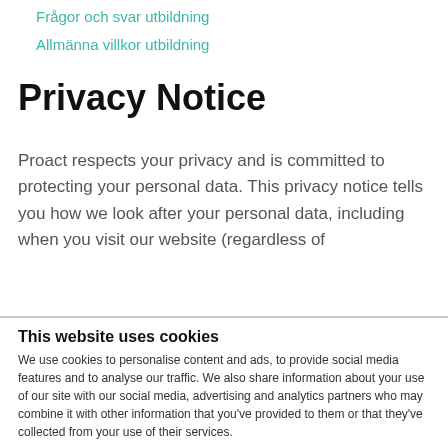Frågor och svar utbildning
Allmänna villkor utbildning
Privacy Notice
Proact respects your privacy and is committed to protecting your personal data. This privacy notice tells you how we look after your personal data, including when you visit our website (regardless of
This website uses cookies
We use cookies to personalise content and ads, to provide social media features and to analyse our traffic. We also share information about your use of our site with our social media, advertising and analytics partners who may combine it with other information that you've provided to them or that they've collected from your use of their services.
Deny | Allow all | Show details